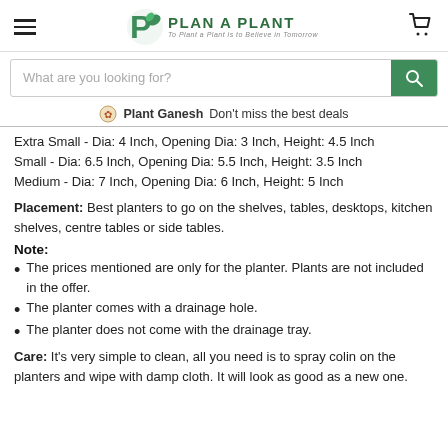Plan A Plant — navigation header with logo, hamburger menu, and cart icon
What are you looking for? [search bar]
Plant Ganesh  Don't miss the best deals
Extra Small - Dia: 4 Inch, Opening Dia: 3 Inch, Height: 4.5 Inch
Small - Dia: 6.5 Inch, Opening Dia: 5.5 Inch, Height: 3.5 Inch
Medium - Dia: 7 Inch, Opening Dia: 6 Inch, Height: 5 Inch
Placement: Best planters to go on the shelves, tables, desktops, kitchen shelves, centre tables or side tables.
Note:
The prices mentioned are only for the planter. Plants are not included in the offer.
The planter comes with a drainage hole.
The planter does not come with the drainage tray.
Care: It's very simple to clean, all you need is to spray colin on the planters and wipe with damp cloth. It will look as good as a new one.